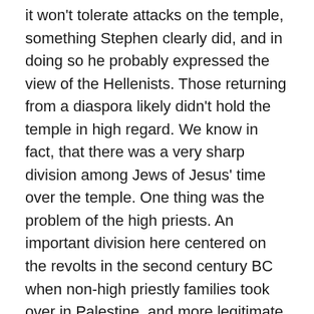it won't tolerate attacks on the temple, something Stephen clearly did, and in doing so he probably expressed the view of the Hellenists. Those returning from a diaspora likely didn't hold the temple in high regard. We know in fact, that there was a very sharp division among Jews of Jesus' time over the temple. One thing was the problem of the high priests. An important division here centered on the revolts in the second century BC when non-high priestly families took over in Palestine, and more legitimate high priests were in Egypt. The Egyptian Jews tried to build a temple there, but the high priest in Jerusalem conspired with the Egyptians to destroy that effort and they also attacked the Samaritans to destroy their temple. There was some resentment through the diaspora (probably) about paying in support to the Jerusalem temple and the associated idea that God can